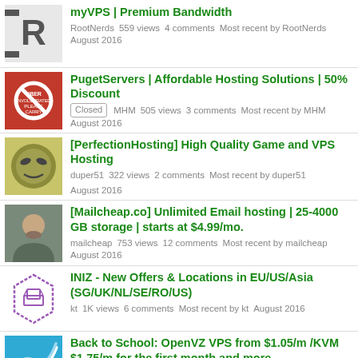myVPS | Premium Bandwidth — RootNerds 559 views 4 comments Most recent by RootNerds August 2016
PugetServers | Affordable Hosting Solutions | 50% Discount — Closed MHM 505 views 3 comments Most recent by MHM August 2016
[PerfectionHosting] High Quality Game and VPS Hosting — duper51 322 views 2 comments Most recent by duper51 August 2016
[Mailcheap.co] Unlimited Email hosting | 25-4000 GB storage | starts at $4.99/mo. — mailcheap 753 views 12 comments Most recent by mailcheap August 2016
INIZ - New Offers & Locations in EU/US/Asia (SG/UK/NL/SE/RO/US) — kt 1K views 6 comments Most recent by kt August 2016
Back to School: OpenVZ VPS from $1.05/m /KVM $1.75/m for the first month and more